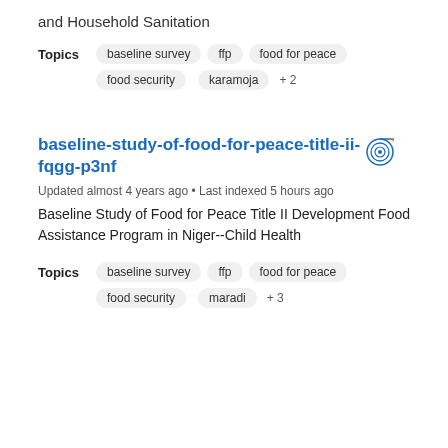and Household Sanitation
Topics  baseline survey  ffp  food for peace  food security  karamoja  + 2
baseline-study-of-food-for-peace-title-ii-fqgg-p3nf
Updated almost 4 years ago • Last indexed 5 hours ago
Baseline Study of Food for Peace Title II Development Food Assistance Program in Niger--Child Health
Topics  baseline survey  ffp  food for peace  food security  maradi  + 3